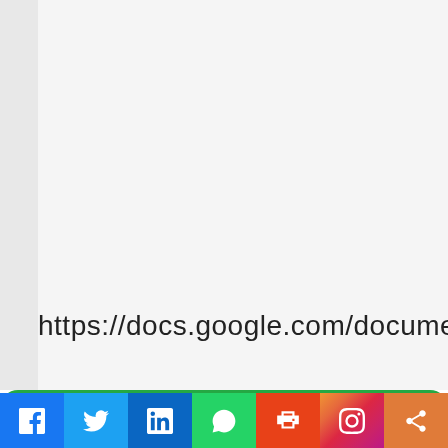https://docs.google.com/document/d/13Il...
Send Whatsapp message to Admin Waqar Satt...
[Figure (screenshot): Social media sharing bar with Facebook, Twitter, LinkedIn, WhatsApp, Print, Instagram, and Share icons at the bottom of a webpage]